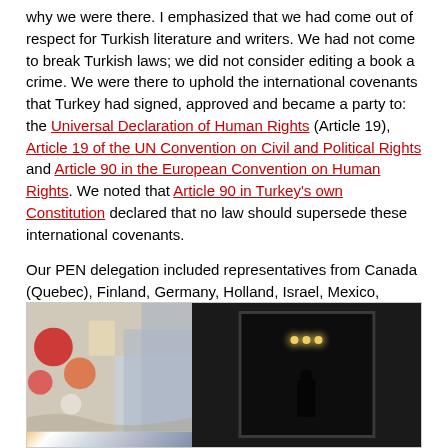why we were there. I emphasized that we had come out of respect for Turkish literature and writers. We had not come to break Turkish laws; we did not consider editing a book a crime. We were there to uphold the international covenants that Turkey had signed, approved and became a party to: the Universal Declaration of Human Rights (Article 19), Article 19 of the UN Convention on Civil and Political Rights and Article 90 in the European Convention on Human Rights. We noted that Article 90 in Turkey's own Constitution declared that no law should supersede these international covenants.
Our PEN delegation included representatives from Canada (Quebec), Finland, Germany, Holland, Israel, Mexico, Palestine, Russia, Sweden, United Kingdom, United States and Turkey. The delegates included James Kelman, Booker Prize winner from Scotland and Turkish writers including Yaşar Kemal, Orhan Pamuk and others.
[Figure (photo): A photograph showing a hallway or room entrance. The left portion shows colorful artwork or murals with red, orange, yellow and white tones. The right portion shows a dark corridor or doorway with dim overhead lights and a silhouetted figure standing in the background.]